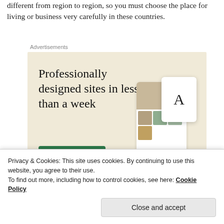different from region to region, so you must choose the place for living or business very carefully in these countries.
[Figure (screenshot): Advertisement banner with beige background showing 'Professionally designed sites in less than a week' headline, a green 'Explore options' button, and UI mockup screenshots of a website builder on the right side.]
Privacy & Cookies: This site uses cookies. By continuing to use this website, you agree to their use. To find out more, including how to control cookies, see here: Cookie Policy